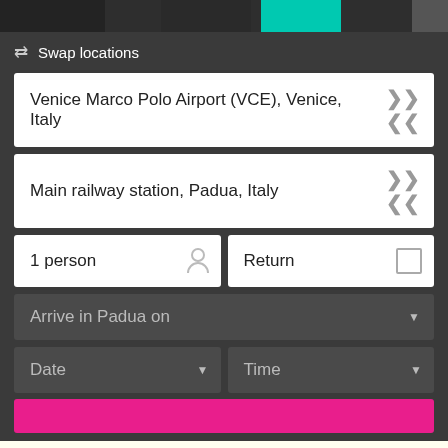[Figure (screenshot): Top banner image strip with dark background and teal accent]
⇄ Swap locations
Venice Marco Polo Airport (VCE), Venice, Italy
Main railway station, Padua, Italy
1 person
Return
Arrive in Padua on
Date
Time
We're using cookies to bring you a better service. By using our website you accept our Terms and Conditions.
OK